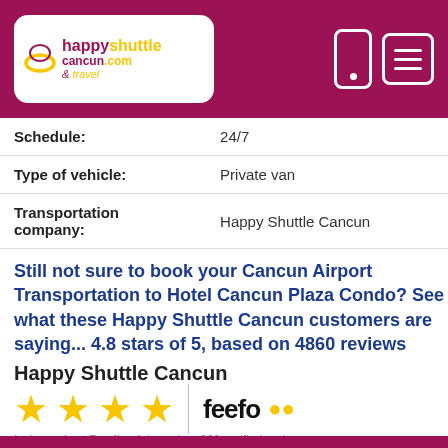[Figure (logo): Happy Shuttle Cancun logo with navigation bar on dark pink/maroon background]
| Schedule: | 24/7 |
| Type of vehicle: | Private van |
| Transportation company: | Happy Shuttle Cancun |
Still not sure to book your Cancun Airport Transportation to Hotel Cancun Plaza Condo? See what these Happy Shuttle Cancun customers are saying... 4.8 stars of 5, based on 4860 reviews
Happy Shuttle Cancun
[Figure (other): Four gold stars rating with Feefo logo and one star with 4.8/5 rating and independent feedback text]
Independent Feedback based on 260 verified reviews.